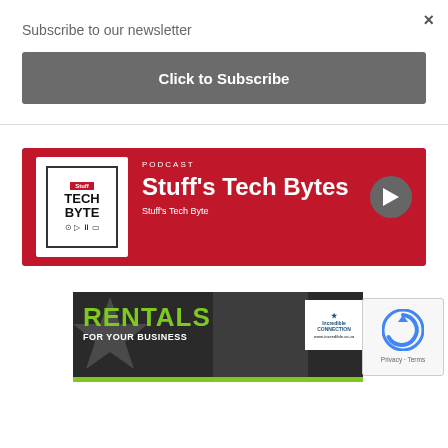×
Subscribe to our newsletter
[Figure (screenshot): Gray button labeled 'Click to Subscribe']
[Figure (infographic): Red banner for Stuff's Tech Bytes podcast with logo, play button, and title text]
[Figure (infographic): Dark banner ad: 'RENTALS FOR YOUR BUSINESS' with Incredible Connection logo and man with glasses]
[Figure (infographic): Google reCAPTCHA widget with Privacy and Terms links]